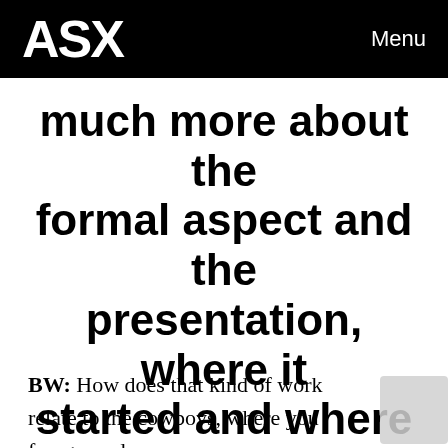ASX   Menu
much more about the formal aspect and the presentation, where it started and where it ends up.”
BW: How does that kind of work relate to the cowboys, where you foreground very